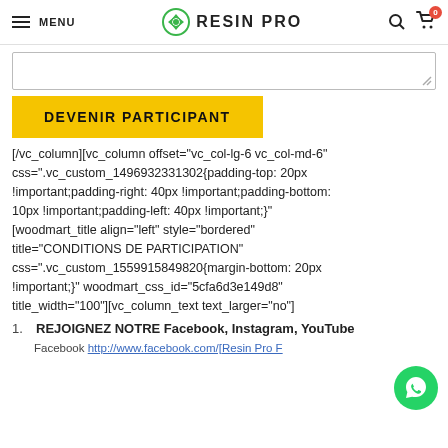MENU | RESIN PRO | Search | Cart 0
[/vc_column][vc_column offset="vc_col-lg-6 vc_col-md-6" css=".vc_custom_1496932331302{padding-top: 20px !important;padding-right: 40px !important;padding-bottom: 10px !important;padding-left: 40px !important;}"]
[woodmart_title align="left" style="bordered" title="CONDITIONS DE PARTICIPATION" css=".vc_custom_1559915849820{margin-bottom: 20px !important;}" woodmart_css_id="5cfa6d3e149d8" title_width="100"][vc_column_text text_larger="no"]
REJOIGNEZ NOTRE Facebook, Instagram, YouTube